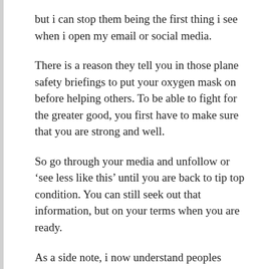but i can stop them being the first thing i see when i open my email or social media.
There is a reason they tell you in those plane safety briefings to put your oxygen mask on before helping others. To be able to fight for the greater good, you first have to make sure that you are strong and well.
So go through your media and unfollow or ‘see less like this’ until you are back to tip top condition. You can still seek out that information, but on your terms when you are ready.
As a side note, i now understand peoples obsessions with cute cat or funny animal videos. Sometimes you just need to see and read things that will make you smile….
These small steps towards a healthier, happier life can have a positive impact, i absolutely believe that. The power over...